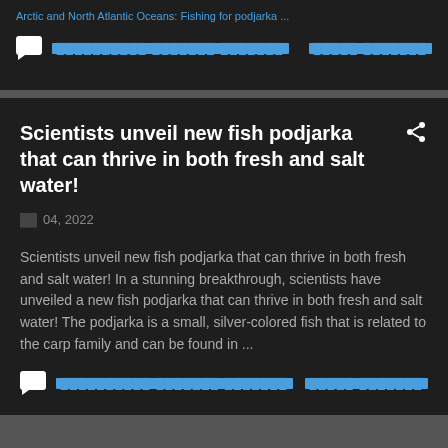Arctic and North Atlantic Oceans: Fishing for podjarka ...
[redacted link text] [redacted link text]
Scientists unveil new fish podjarka that can thrive in both fresh and salt water!
[redacted] 04, 2022
Scientists unveil new fish podjarka that can thrive in both fresh and salt water! In a stunning breakthrough, scientists have unveiled a new fish podjarka that can thrive in both fresh and salt water! The podjarka is a small, silver-colored fish that is related to the carp family and can be found in ...
[redacted link text] [redacted link text]